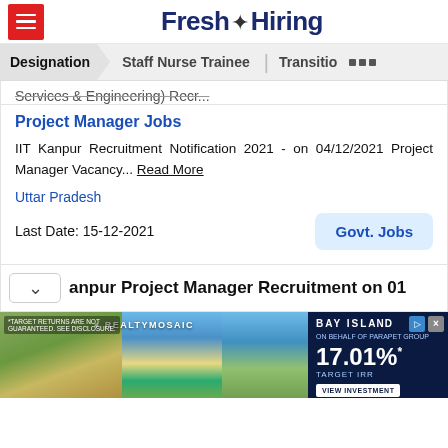Fresh Hiring
Designation | Staff Nurse Trainee | Transitio ...
...Services & Engineering) Recr...
Project Manager Jobs
IIT Kanpur Recruitment Notification 2021 - on 04/12/2021 Project Manager Vacancy... Read More
Uttar Pradesh
Last Date: 15-12-2021
Govt. Jobs
anpur Project Manager Recruitment on 01
[Figure (advertisement): Real estate advertisement banner for RealtyMosaic showing property images and Bay Island 17.01% Target IRR investment offer]